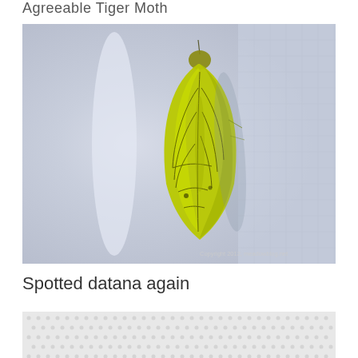Agreeable Tiger Moth
[Figure (photo): Close-up photograph of a yellow-green Agreeable Tiger Moth resting on a white mesh/fabric surface. The moth appears bright yellow-green with dark wing vein patterns visible. Background is blurred light blue-grey. Copyright watermark reads: Copyright 2012, meadowblog.net]
Spotted datana again
[Figure (photo): Partial photograph showing a white dotted/mesh fabric or surface, cropped at the bottom of the page.]